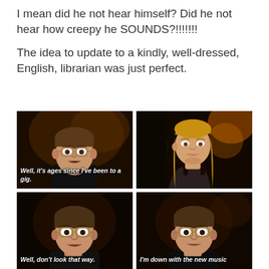I mean did he not hear himself? Did he not hear how creepy he SOUNDS?!!!!!!!
The idea to update to a kindly, well-dressed, English, librarian was just perfect.
[Figure (photo): Four-panel screenshot from a TV show (Buffy the Vampire Slayer) showing two characters. Top-left: man with glasses looking surprised, subtitle: 'Well, it's ages since I've been to a gig.' Top-right: blonde woman looking sideways. Bottom-left: man with glasses, subtitle: 'Well, don't look that way.' Bottom-right: man with glasses, subtitle: 'I'm down with the new music']